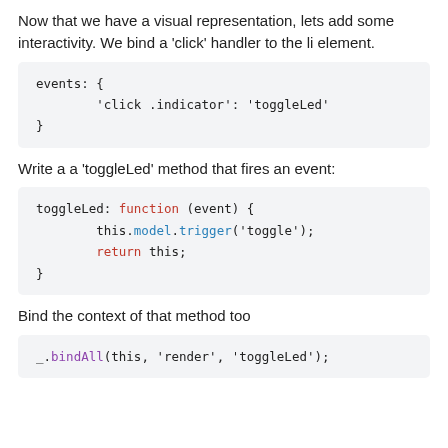Now that we have a visual representation, lets add some interactivity. We bind a 'click' handler to the li element.
[Figure (screenshot): Code block showing events object with 'click .indicator': 'toggleLed']
Write a a 'toggleLed' method that fires an event:
[Figure (screenshot): Code block showing toggleLed function with this.model.trigger and return this]
Bind the context of that method too
[Figure (screenshot): Code block showing _.bindAll(this, 'render', 'toggleLed');]